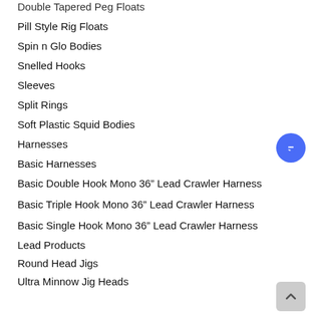Double Tapered Peg Floats
Pill Style Rig Floats
Spin n Glo Bodies
Snelled Hooks
Sleeves
Split Rings
Soft Plastic Squid Bodies
Harnesses
Basic Harnesses
Basic Double Hook Mono 36” Lead Crawler Harness
Basic Triple Hook Mono 36” Lead Crawler Harness
Basic Single Hook Mono 36” Lead Crawler Harness
Lead Products
Round Head Jigs
Ultra Minnow Jig Heads
Stinger Hooks
Bottom Bouncers
Banana Swim Jigs
Spoons
Walleye Spoons